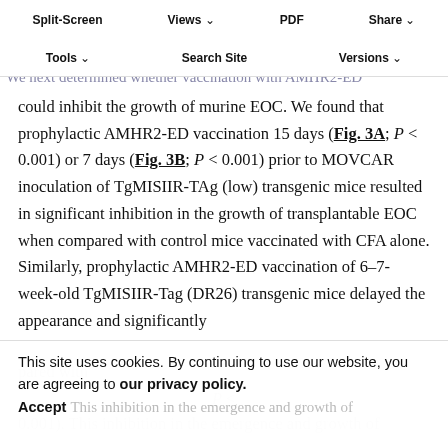Split-Screen | Views | PDF | Share | Tools | Search Site | Versions
AMHR2-ED vaccination inhibits growth of transplantable and autochthonous murine EOC
We next determined whether vaccination with AMHR2-ED could inhibit the growth of murine EOC. We found that prophylactic AMHR2-ED vaccination 15 days (Fig. 3A; P < 0.001) or 7 days (Fig. 3B; P < 0.001) prior to MOVCAR inoculation of TgMISIIR-TAg (low) transgenic mice resulted in significant inhibition in the growth of transplantable EOC when compared with control mice vaccinated with CFA alone. Similarly, prophylactic AMHR2-ED vaccination of 6–7-week-old TgMISIIR-Tag (DR26) transgenic mice delayed the appearance and significantly
This site uses cookies. By continuing to use our website, you are agreeing to our privacy policy. Accept
This inhibition in the emergence and growth of